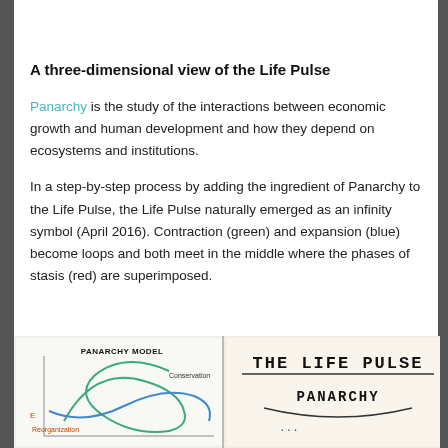A three-dimensional view of the Life Pulse
Panarchy is the study of the interactions between economic growth and human development and how they depend on ecosystems and institutions.
In a step-by-step process by adding the ingredient of Panarchy to the Life Pulse, the Life Pulse naturally emerged as an infinity symbol (April 2016). Contraction (green) and expansion (blue) become loops and both meet in the middle where the phases of stasis (red) are superimposed.
[Figure (illustration): Panarchy Model diagram showing loops labeled Conservation and Reorganization with colored curves]
[Figure (photo): Handwritten text reading THE LIFE PULSE with PANARCHY below it on paper]